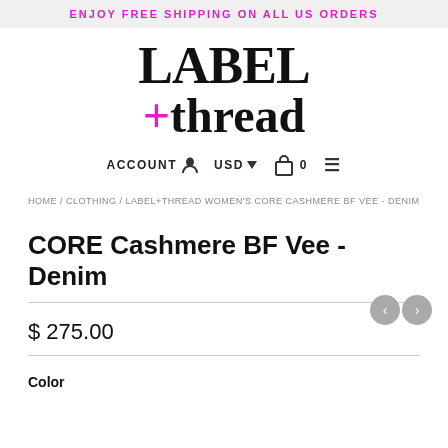ENJOY FREE SHIPPING ON ALL US ORDERS
[Figure (logo): Label+Thread brand logo in large serif font with pink plus sign]
ACCOUNT  USD  0  ☰
HOME / CLOTHING / LABEL+THREAD WOMEN'S CORE CASHMERE BF VEE - DENIM
CORE Cashmere BF Vee - Denim
$ 275.00
Color